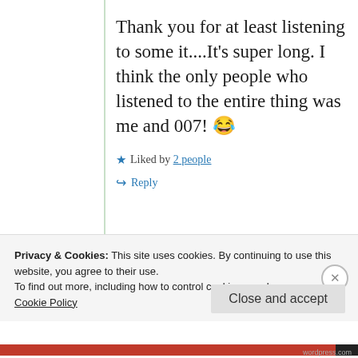Thank you for at least listening to some it....It's super long. I think the only people who listened to the entire thing was me and 007! 😂
★ Liked by 2 people
↪ Reply
Privacy & Cookies: This site uses cookies. By continuing to use this website, you agree to their use.
To find out more, including how to control cookies, see here:
Cookie Policy
Close and accept